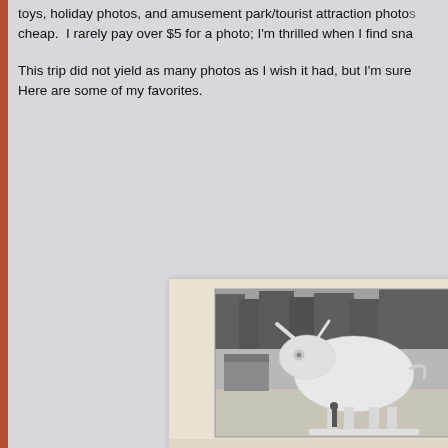toys, holiday photos, and amusement park/tourist attraction photos cheap.  I rarely pay over $5 for a photo; I'm thrilled when I find sna
This trip did not yield as many photos as I wish it had, but I'm sure Here are some of my favorites.
[Figure (photo): Vintage black and white photograph mounted on cream/white scallop-edged card stock, showing a large white bull or ox statue/sculpture outdoors in a parking area, with trees in the background and a small building. A person stands near the base of the statue for scale.]